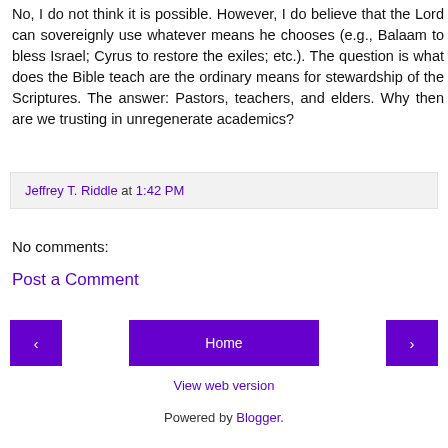No, I do not think it is possible. However, I do believe that the Lord can sovereignly use whatever means he chooses (e.g., Balaam to bless Israel; Cyrus to restore the exiles; etc.). The question is what does the Bible teach are the ordinary means for stewardship of the Scriptures. The answer: Pastors, teachers, and elders. Why then are we trusting in unregenerate academics?
Jeffrey T. Riddle at 1:42 PM
No comments:
Post a Comment
Home
View web version
Powered by Blogger.